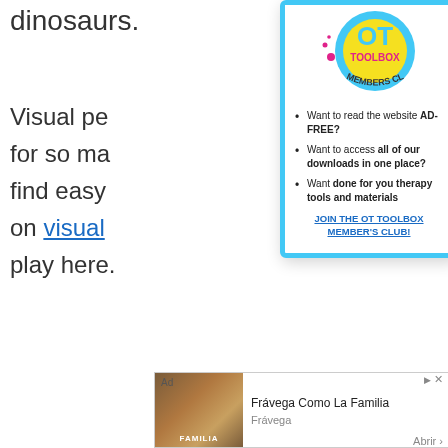dinosaurs.
Visual pe... for so ma... find easy ... on visual... play here.
[Figure (illustration): OT Toolbox Members Club logo: circular badge with yellow and cyan colors, pink dots, reading 'OT TOOLBOX MEMBERS CLUB']
Want to read the website AD-FREE?
Want to access all of our downloads in one place?
Want done for you therapy tools and materials
JOIN THE OT TOOLBOX MEMBER'S CLUB!
Ad  Frávega Como La Familia  Frávega  Abrir